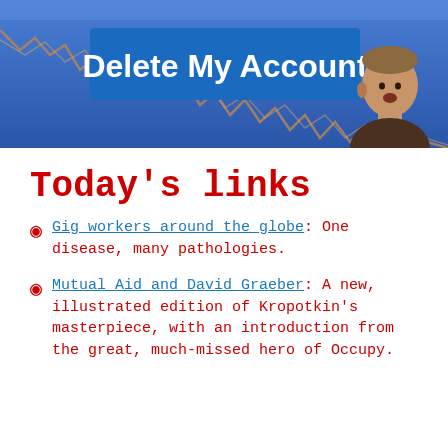[Figure (photo): Photo of a person (Mark Zuckerberg) at a podium/stage with a blue background showing a stock market style line chart going down, and a blue sign reading 'Delete My Account' in white bold text.]
Today's links
Gig workers around the globe: One disease, many pathologies.
Mutual Aid and David Graeber: A new, illustrated edition of Kropotkin's masterpiece, with an introduction from the great, much-missed hero of Occupy.